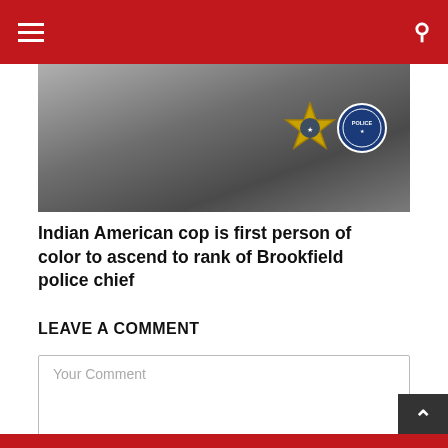Navigation menu and search
[Figure (photo): Photo of a police officer in dark uniform showing a star sheriff badge and a circular police badge patch]
Indian American cop is first person of color to ascend to rank of Brookfield police chief
LEAVE A COMMENT
Your Comment